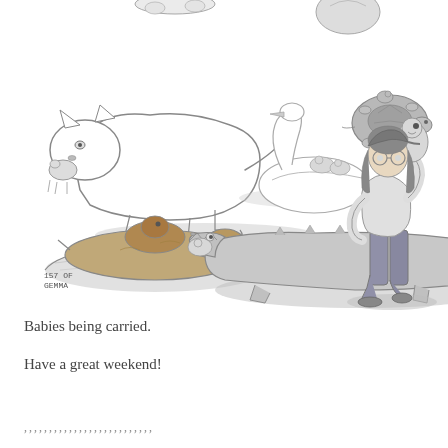[Figure (illustration): A collection of hand-drawn sketches showing animals and a person carrying babies/young: a large cat (lion/cougar) carrying a cub in its mouth; a swan with cygnets; a turtle; an otter floating with a pup on its chest; a crocodile/alligator with a baby in its mouth; a person walking while holding a baby on their shoulder. Small page label reads '157 OF GEMMA' at bottom left of illustration area.]
Babies being carried.
Have a great weekend!
,,,,,,,,,,,,,,,,,,,,,,,,,